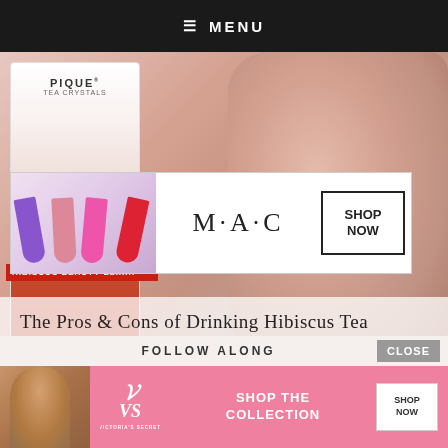≡ MENU
[Figure (photo): Hero image of Pique Tea Crystals Hibiscus Beauty Elixir box and a rose gold ceramic mug on a light background]
[Figure (screenshot): MAC cosmetics advertisement banner showing colorful lipsticks, MAC logo, and SHOP NOW button]
The Pros & Cons of Drinking Hibiscus Tea
FOLLOW ALONG
[Figure (screenshot): Victoria's Secret advertisement banner with model, VS logo, SHOP THE COLLECTION text, and SHOP NOW button]